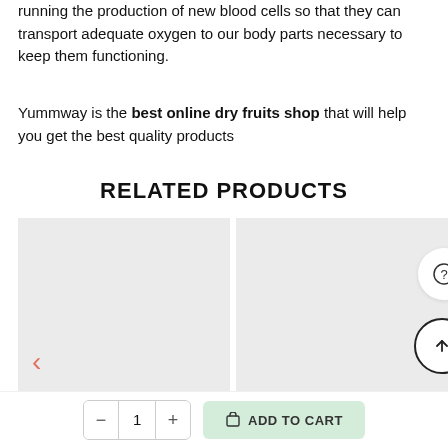running the production of new blood cells so that they can transport adequate oxygen to our body parts necessary to keep them functioning.
Yummway is the best online dry fruits shop that will help you get the best quality products
RELATED PRODUCTS
[Figure (other): Two product image placeholders side by side with left chevron arrow on left card and question mark icon and scroll-to-top circle icon on right card]
[Figure (other): Bottom bar with quantity control (minus, 1, plus) and green Add to Cart button with bag icon]